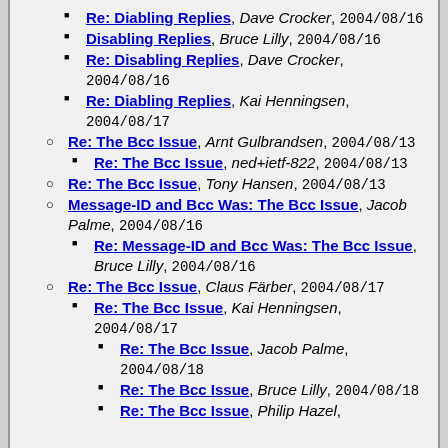Re: Diabling Replies, Dave Crocker, 2004/08/16
Disabling Replies, Bruce Lilly, 2004/08/16
Re: Disabling Replies, Dave Crocker, 2004/08/16
Re: Diabling Replies, Kai Henningsen, 2004/08/17
Re: The Bcc Issue, Arnt Gulbrandsen, 2004/08/13
Re: The Bcc Issue, ned+ietf-822, 2004/08/13
Re: The Bcc Issue, Tony Hansen, 2004/08/13
Message-ID and Bcc Was: The Bcc Issue, Jacob Palme, 2004/08/16
Re: Message-ID and Bcc Was: The Bcc Issue, Bruce Lilly, 2004/08/16
Re: The Bcc Issue, Claus Färber, 2004/08/17
Re: The Bcc Issue, Kai Henningsen, 2004/08/17
Re: The Bcc Issue, Jacob Palme, 2004/08/18
Re: The Bcc Issue, Bruce Lilly, 2004/08/18
Re: The Bcc Issue, Philip Hazel,